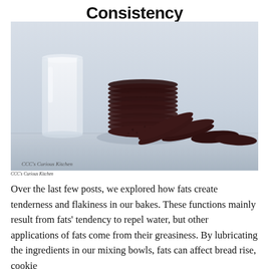Consistency
[Figure (photo): A stack of dark chocolate cookies leaning against a glass of milk on a light blue-grey background. The cookies are arranged in a row, with several standing upright and a few lying flat. A glass of milk sits to the left. Watermark reads 'CCC's Curious Kitchen' in the lower left.]
CCC's Curious Kitchen
Over the last few posts, we explored how fats create tenderness and flakiness in our bakes. These functions mainly result from fats' tendency to repel water, but other applications of fats come from their greasiness. By lubricating the ingredients in our mixing bowls, fats can affect bread rise, cookie